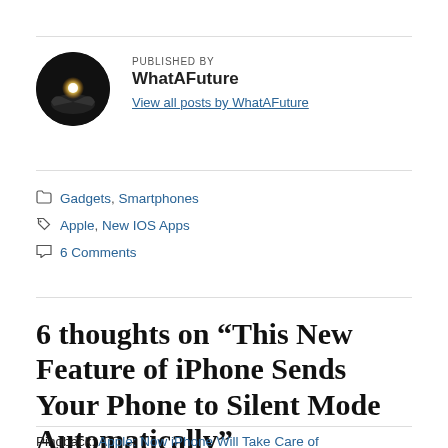[Figure (photo): Circular avatar photo of WhatAFuture author — dark background with a glowing orb/light in cupped hands silhouette]
PUBLISHED BY
WhatAFuture
View all posts by WhatAFuture
Gadgets, Smartphones
Apple, New IOS Apps
6 Comments
6 thoughts on “This New Feature of iPhone Sends Your Phone to Silent Mode Automatically”
Pingback: Apple: Now iPhone Will Take Care of